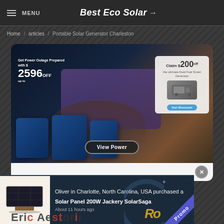≡ MENU | Best Eco Solar →
Home / articles / Portable Solar Generator Charleston
[Figure (screenshot): Advertisement banner for EcoFlow showing power station products with text: Get Power Outage Prepared with $ up to 2596 OFF, and a popup card: Claim $200 OFF the ultimate Dual Fuel Smart Generator, with a Get Discount button and a View Power button at the bottom.]
[Figure (screenshot): Notification popup showing a solar panel image (Solar Panel 200W Jackery SolarSaga) with text: Oliver in Charlotte, North Carolina, USA purchased a Solar Panel 200W Jackery SolarSaga. About 11 hours ago. A Promo ribbon in the corner.]